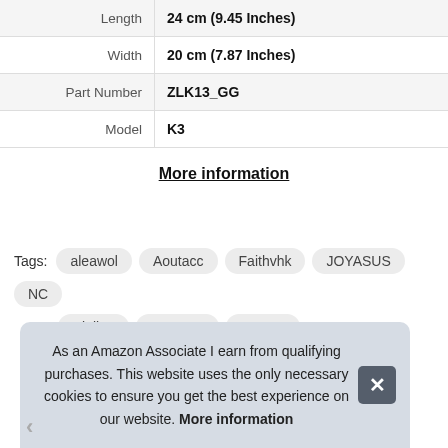| Length | 24 cm (9.45 Inches) |
| Width | 20 cm (7.87 Inches) |
| Part Number | ZLK13_GG |
| Model | K3 |
More information
Tags: aleawol  Aoutacc  Faithvhk  JOYASUS  NC  Rinling  Sensong  Yzpacc
As an Amazon Associate I earn from qualifying purchases. This website uses the only necessary cookies to ensure you get the best experience on our website. More information